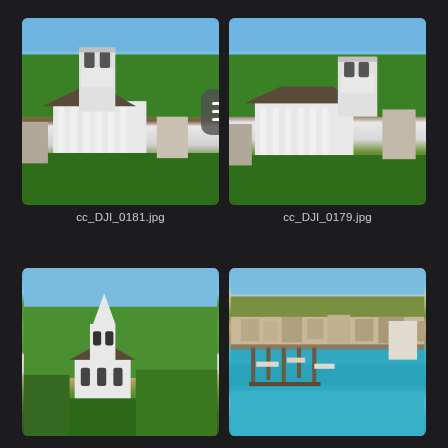[Figure (photo): Aerial drone photo of a white church with square tower and Greek Revival columns, surrounded by green trees, with ocean/harbor visible in the background under blue sky. Filename: cc_DJI_0181.jpg. A hamburger menu icon overlay is visible between the two top photos.]
cc_DJI_0181.jpg
[Figure (photo): Aerial drone photo of the same white church with square tower and Greek Revival columns from a slightly different angle, surrounded by green trees, with ocean/harbor visible in the background under blue sky. Filename: cc_DJI_0179.jpg.]
cc_DJI_0179.jpg
[Figure (photo): Aerial drone photo of a white church with pointed steeple surrounded by green trees and residential neighborhood under clear blue sky.]
[Figure (photo): Aerial drone photo of a harbor/marina with docks, boats, and teal/turquoise water, surrounded by a small coastal town.]